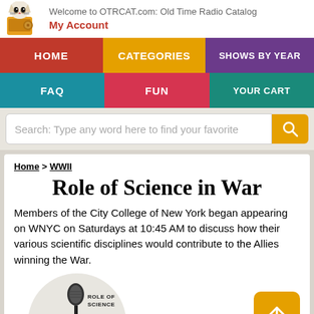Welcome to OTRCAT.com: Old Time Radio Catalog
My Account
[Figure (screenshot): Navigation menu with HOME (red), CATEGORIES (orange), SHOWS BY YEAR (purple), FAQ (teal), FUN (pink-red), YOUR CART (green-teal) buttons]
Search: Type any word here to find your favorite
Home > WWII
Role of Science in War
Members of the City College of New York began appearing on WNYC on Saturdays at 10:45 AM to discuss how their various scientific disciplines would contribute to the Allies winning the War.
[Figure (logo): Circular logo with microphone icon and text ROLE OF SCIENCE IN WAR]